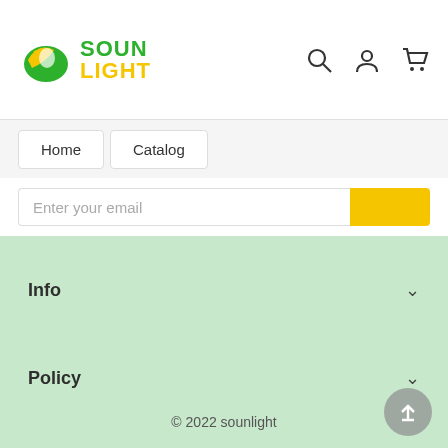[Figure (logo): Sounlight logo: green and yellow S-shaped bird icon with green SOUN and yellow LIGHT text]
[Figure (infographic): Header icons: search magnifying glass, user/account person icon, shopping cart icon]
Home
Catalog
Enter your email
Info
Policy
We accept
© 2022 sounlight